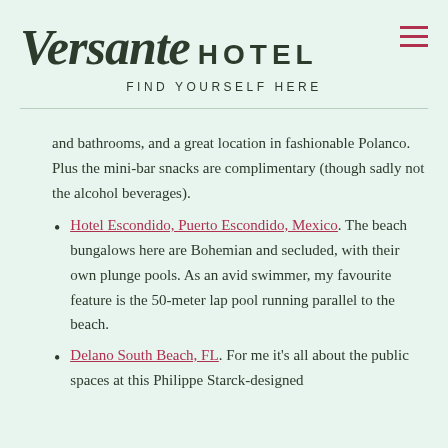Versante HOTEL
FIND YOURSELF HERE
and bathrooms, and a great location in fashionable Polanco. Plus the mini-bar snacks are complimentary (though sadly not the alcohol beverages).
Hotel Escondido, Puerto Escondido, Mexico. The beach bungalows here are Bohemian and secluded, with their own plunge pools. As an avid swimmer, my favourite feature is the 50-meter lap pool running parallel to the beach.
Delano South Beach, FL. For me it’s all about the public spaces at this Philippe Starck-designed